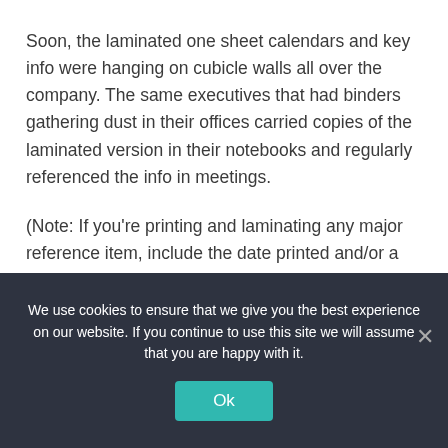Soon, the laminated one sheet calendars and key info were hanging on cubicle walls all over the company. The same executives that had binders gathering dust in their offices carried copies of the laminated version in their notebooks and regularly referenced the info in meetings.
(Note: If you're printing and laminating any major reference item, include the date printed and/or a version number. I learned this the hard way the first time I updated it and tried to ensure everyone had
We use cookies to ensure that we give you the best experience on our website. If you continue to use this site we will assume that you are happy with it.